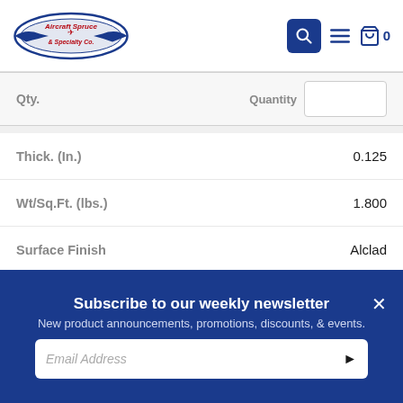[Figure (logo): Aircraft Spruce & Specialty Co. logo with navigation icons (search, menu, cart showing 0)]
| Property | Value |
| --- | --- |
| Thick. (In.) | 0.125 |
| Wt/Sq.Ft. (lbs.) | 1.800 |
| Surface Finish | Alclad |
| Size | 4' x 4' |
| Part No. | 03-28740 |
| Price | $304.00 |
Subscribe to our weekly newsletter
New product announcements, promotions, discounts, & events.